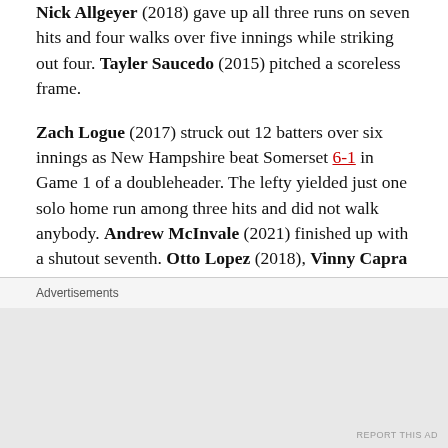Nick Allgeyer (2018) gave up all three runs on seven hits and four walks over five innings while striking out four. Tayler Saucedo (2015) pitched a scoreless frame.

Zach Logue (2017) struck out 12 batters over six innings as New Hampshire beat Somerset 6-1 in Game 1 of a doubleheader. The lefty yielded just one solo home run among three hits and did not walk anybody. Andrew McInvale (2021) finished up with a shutout seventh. Otto Lopez (2018), Vinny Capra (2018), Reggie Pruitt (2017) and Kevin Vicuña (2017) all had base hits with Capra stealing a base. Samad Taylor (2017) drew a walk
Advertisements